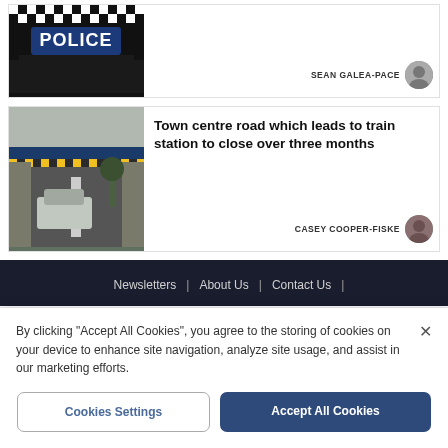[Figure (photo): Photo of police officer torso with POLICE text visible on uniform]
SEAN GALEA-PACE
[Figure (photo): Photo of a town centre road leading under a railway bridge towards a train station]
Town centre road which leads to train station to close over three months
CASEY COOPER-FISKE
Newsletters | About Us | Contact Us |
By clicking "Accept All Cookies", you agree to the storing of cookies on your device to enhance site navigation, analyze site usage, and assist in our marketing efforts.
Cookies Settings
Accept All Cookies